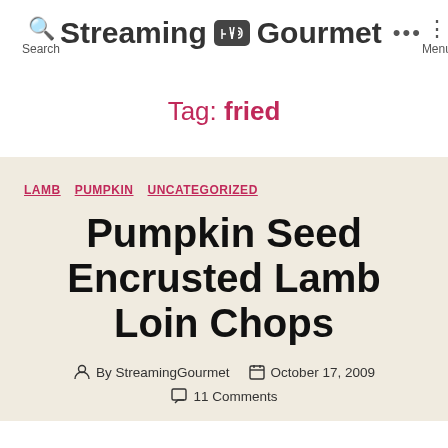Search | Streaming Gourmet | Menu
Tag: fried
LAMB  PUMPKIN  UNCATEGORIZED
Pumpkin Seed Encrusted Lamb Loin Chops
By StreamingGourmet  October 17, 2009  11 Comments